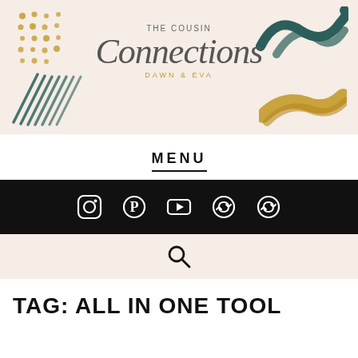[Figure (logo): The Cousin Connections - Dawn & Eva logo banner with abstract decorative elements on a cream/peach background, featuring teal brushstrokes, gold dots, and diagonal lines.]
MENU
[Figure (infographic): Black social media icons bar with Instagram, Pinterest, YouTube, and two circular arrow/sync icons in white on black background.]
[Figure (infographic): Cream/peach search bar with a magnifying glass search icon.]
TAG: ALL IN ONE TOOL